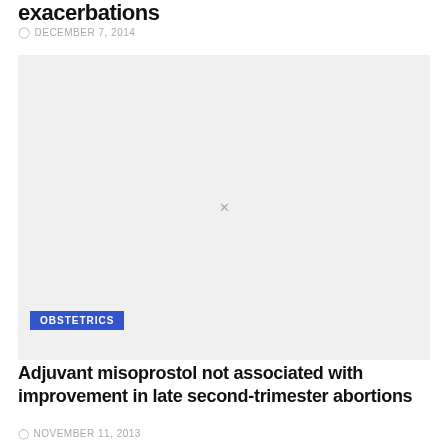exacerbations
DECEMBER 7, 2014
[Figure (photo): Placeholder image box with broken image indicator (x) on light gray background, with OBSTETRICS category tag overlay]
Adjuvant misoprostol not associated with improvement in late second-trimester abortions
NOVEMBER 11, 2013